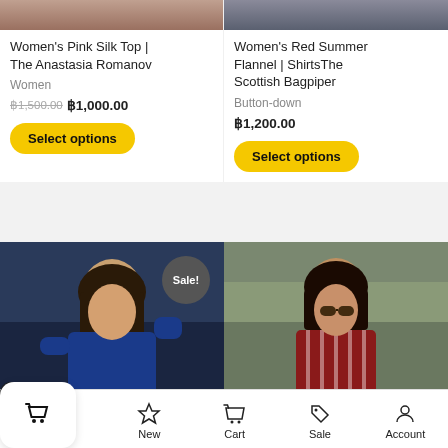[Figure (photo): Partial top of women's pink silk top product image, left card]
Women's Pink Silk Top | The Anastasia Romanov
Women
฿1,500.00 ฿1,000.00
Select options
[Figure (photo): Partial top of women's red summer flannel product image, right card]
Women's Red Summer Flannel | ShirtsThe Scottish Bagpiper
Button-down
฿1,200.00
Select options
[Figure (photo): Woman wearing blue top with Sale! badge overlay]
[Figure (photo): Woman wearing red striped shirt outdoors]
Home  New  Cart  Sale  Account